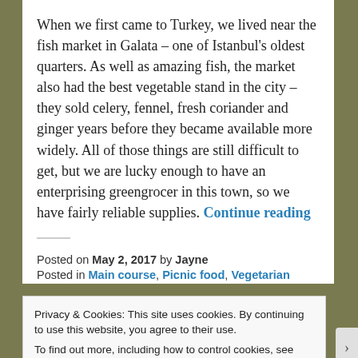When we first came to Turkey, we lived near the fish market in Galata – one of Istanbul's oldest quarters. As well as amazing fish, the market also had the best vegetable stand in the city – they sold celery, fennel, fresh coriander and ginger years before they became available more widely. All of those things are still difficult to get, but we are lucky enough to have an enterprising greengrocer in this town, so we have fairly reliable supplies. Continue reading
Posted on May 2, 2017 by Jayne
Posted in Main course, Picnic food, Vegetarian
Privacy & Cookies: This site uses cookies. By continuing to use this website, you agree to their use.
To find out more, including how to control cookies, see here: Cookie Policy